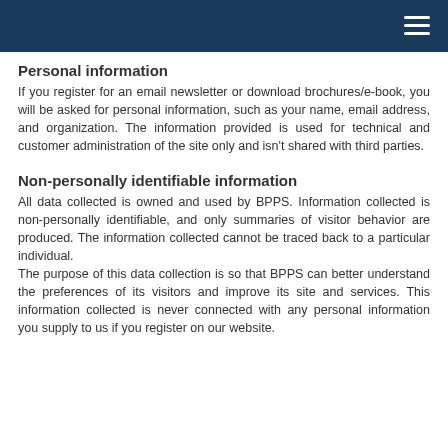Personal information
If you register for an email newsletter or download brochures/e-book, you will be asked for personal information, such as your name, email address, and organization. The information provided is used for technical and customer administration of the site only and isn't shared with third parties.
Non-personally identifiable information
All data collected is owned and used by BPPS. Information collected is non-personally identifiable, and only summaries of visitor behavior are produced. The information collected cannot be traced back to a particular individual.
The purpose of this data collection is so that BPPS can better understand the preferences of its visitors and improve its site and services. This information collected is never connected with any personal information you supply to us if you register on our website.